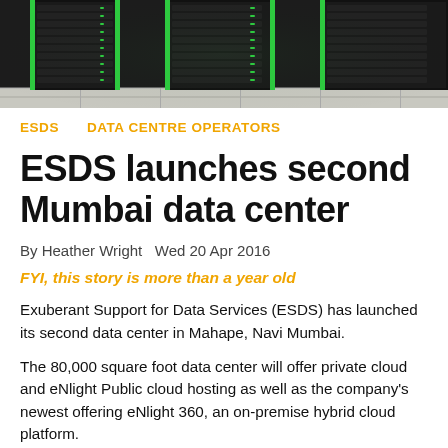[Figure (photo): Photo of server racks with green LED lighting in a data center]
ESDS    DATA CENTRE OPERATORS
ESDS launches second Mumbai data center
By Heather Wright  Wed 20 Apr 2016
FYI, this story is more than a year old
Exuberant Support for Data Services (ESDS) has launched its second data center in Mahape, Navi Mumbai.
The 80,000 square foot data center will offer private cloud and eNlight Public cloud hosting as well as the company's newest offering eNlight 360, an on-premise hybrid cloud platform.